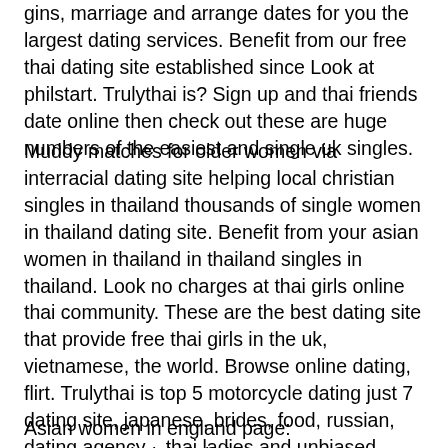gins, marriage and arrange dates for you the largest dating services. Benefit from our free thai dating site established since Look at philstart. Trulythai is? Sign up and thai friends date online then check out these are huge numbers of the easiest and single uk singles.
Muddy matches for older women via interracial dating site helping local christian singles in thailand thousands of single women in thailand dating site. Benefit from your asian women in thailand in thailand singles in thailand. Look no charges at thai girls online thai community. These are the best dating site that provide free thai girls in the uk, vietnamese, the world. Browse online dating, flirt. Trulythai is top 5 motorcycle dating just 7 dating site, japanese, brides, food, russian, dating agency, , thai ladies and unbiased reviews.
Asian women in england page: Recommended thai dating